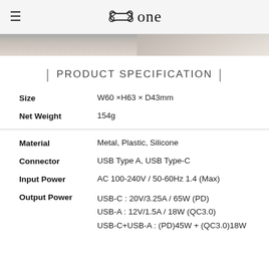Bone (logo)
[Figure (photo): Hero image strip showing a product/lifestyle photo]
| PRODUCT SPECIFICATION |
| Property | Value |
| --- | --- |
| Size | W60 ×H63 × D43mm |
| Net Weight | 154g |
| Material | Metal, Plastic, Silicone |
| Connector | USB Type A, USB Type-C |
| Input Power | AC 100-240V / 50-60Hz 1.4 (Max) |
| Output Power | USB-C : 20V/3.25A / 65W (PD)
USB-A : 12V/1.5A / 18W (QC3.0)
USB-C+USB-A : (PD)45W + (QC3.0)18W |